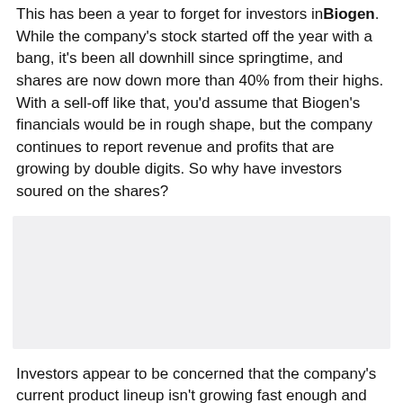This has been a year to forget for investors in Biogen. While the company's stock started off the year with a bang, it's been all downhill since springtime, and shares are now down more than 40% from their highs. With a sell-off like that, you'd assume that Biogen's financials would be in rough shape, but the company continues to report revenue and profits that are growing by double digits. So why have investors soured on the shares?
[Figure (other): Gray placeholder image block]
Investors appear to be concerned that the company's current product lineup isn't growing fast enough and that its pipeline won't produce the growth needed to justify its former lofty valuation. Biogen also recently announced that it will be terminating a handful of its advanced clinical programs and that it will lay off 11% of its workforce.